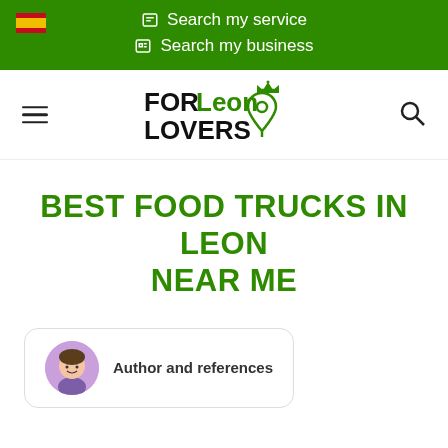Search my service | Search my business
[Figure (logo): FORLeon LOVERS logo with crown and location pin icon]
BEST FOOD TRUCKS IN LEON NEAR ME
Author and references